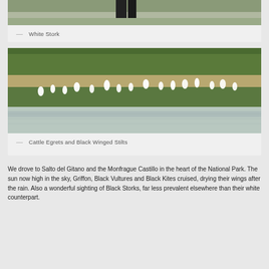[Figure (photo): Partial photo of White Stork (top portion cut off), showing dark legs and grassy background]
— White Stork
[Figure (photo): Cattle Egrets and Black Winged Stilts standing in a wetland meadow with green grass and water reflections]
— Cattle Egrets and Black Winged Stilts
We drove to Salto del Gitano and the Monfrague Castillo in the heart of the National Park. The sun now high in the sky, Griffon, Black Vultures and Black Kites cruised, drying their wings after the rain. Also a wonderful sighting of Black Storks, far less prevalent elsewhere than their white counterpart.